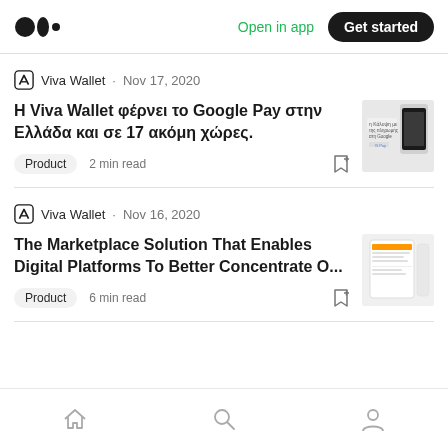Medium | Open in app | Get started
Viva Wallet · Nov 17, 2020
Η Viva Wallet φέρνει το Google Pay στην Ελλάδα και σε 17 ακόμη χώρες.
[Figure (screenshot): Thumbnail image of a phone with Google Pay screen]
Product   2 min read
Viva Wallet · Nov 16, 2020
The Marketplace Solution That Enables Digital Platforms To Better Concentrate O...
[Figure (screenshot): Thumbnail image of a tablet/phone marketplace interface]
Product   6 min read